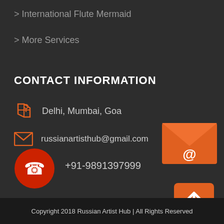> International Flute Mermaid
> More Services
CONTACT INFORMATION
Delhi, Mumbai, Goa
russianartisthub@gmail.com
+91-9891397999
[Figure (illustration): Orange envelope/email icon widget]
[Figure (illustration): Orange scroll-to-top button with upward arrow]
Copyright 2018 Russian Artist Hub | All Rights Reserved